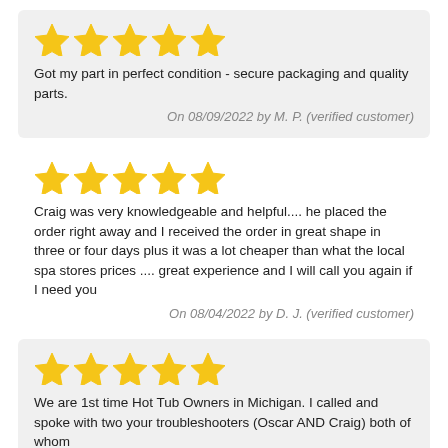[Figure (other): 5 gold stars rating]
Got my part in perfect condition - secure packaging and quality parts.
On 08/09/2022 by M. P. (verified customer)
[Figure (other): 5 gold stars rating]
Craig was very knowledgeable and helpful.... he placed the order right away and I received the order in great shape in three or four days plus it was a lot cheaper than what the local spa stores prices .... great experience and I will call you again if I need you
On 08/04/2022 by D. J. (verified customer)
[Figure (other): 5 gold stars rating]
We are 1st time Hot Tub Owners in Michigan. I called and spoke with two your troubleshooters (Oscar AND Craig) both of whom